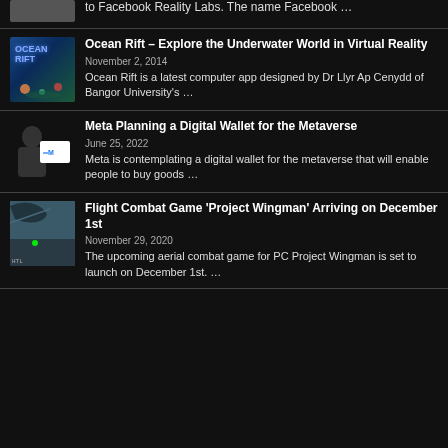to Facebook Reality Labs. The name Facebook …
Ocean Rift – Explore the Underwater World in Virtual Reality
November 2, 2014
Ocean Rift is a latest computer app designed by Dr Llyr Ap Cenydd of Bangor University's …
Meta Planning a Digital Wallet for the Metaverse
June 25, 2022
Meta is contemplating a digital wallet for the metaverse that will enable people to buy goods …
Flight Combat Game 'Project Wingman' Arriving on December 1st
November 29, 2020
The upcoming aerial combat game for PC Project Wingman is set to launch on December 1st. …